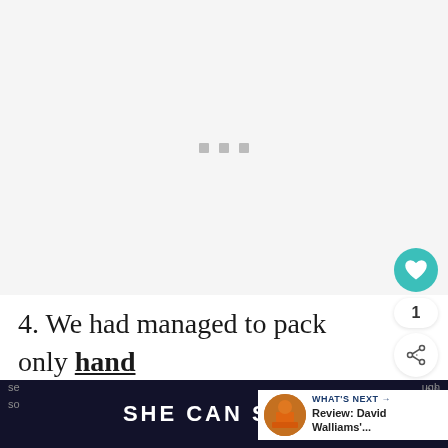[Figure (other): Large image placeholder area with three small gray squares in the center indicating a loading or missing image state]
4. We had managed to pack only hand luggage for our four night stay (so… a miracle!) so we went straight through to
[Figure (other): What's Next panel with thumbnail image and text: Review: David Walliams'...]
[Figure (other): SHE CAN STEM banner advertisement in dark blue with bold white text]